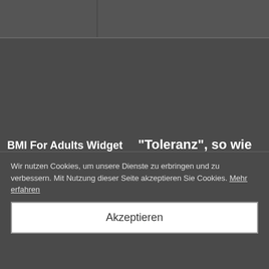[Figure (screenshot): BMI For Adults Widget - a web widget showing Body Mass Index calculator with header, Calculator tab, height input fields in feet and inches]
BMI For Adults Widget
"Toleranz", so wie sie wird, ist nichts andere Gleichgültigkeit, die in
Diese Homepage keine therapeutis Menschen mit Er
Wir nutzen Cookies, um unsere Dienste zu erbringen und zu verbessern. Mit Nutzung dieser Seite akzeptieren Sie Cookies. Mehr erfahren
Akzeptieren